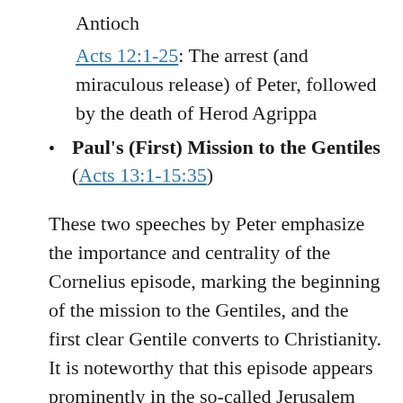Antioch
Acts 12:1-25: The arrest (and miraculous release) of Peter, followed by the death of Herod Agrippa
Paul's (First) Mission to the Gentiles (Acts 13:1-15:35)
These two speeches by Peter emphasize the importance and centrality of the Cornelius episode, marking the beginning of the mission to the Gentiles, and the first clear Gentile converts to Christianity. It is noteworthy that this episode appears prominently in the so-called Jerusalem Council of Acts 15 (cf. vv. 7-9, 14ff), serving to legitimize the mission of Paul and Barnabas. The main speech of Peter in